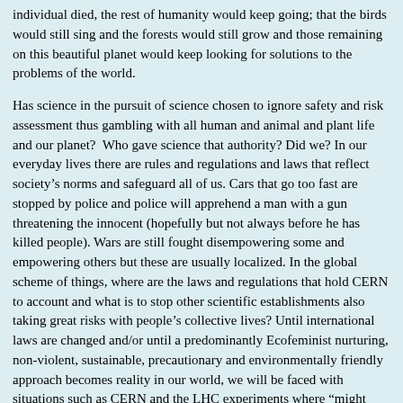individual died, the rest of humanity would keep going; that the birds would still sing and the forests would still grow and those remaining on this beautiful planet would keep looking for solutions to the problems of the world.
Has science in the pursuit of science chosen to ignore safety and risk assessment thus gambling with all human and animal and plant life and our planet?  Who gave science that authority? Did we? In our everyday lives there are rules and regulations and laws that reflect society’s norms and safeguard all of us. Cars that go too fast are stopped by police and police will apprehend a man with a gun threatening the innocent (hopefully but not always before he has killed people). Wars are still fought disempowering some and empowering others but these are usually localized. In the global scheme of things, where are the laws and regulations that hold CERN to account and what is to stop other scientific establishments also taking great risks with people’s collective lives? Until international laws are changed and/or until a predominantly Ecofeminist nurturing, non-violent, sustainable, precautionary and environmentally friendly approach becomes reality in our world, we will be faced with situations such as CERN and the LHC experiments where “might equals right” and where those who dispute such an organization are told to shut up or are personally attacked, marginalized or rebutted with answers that are neither sound or satisfactory.